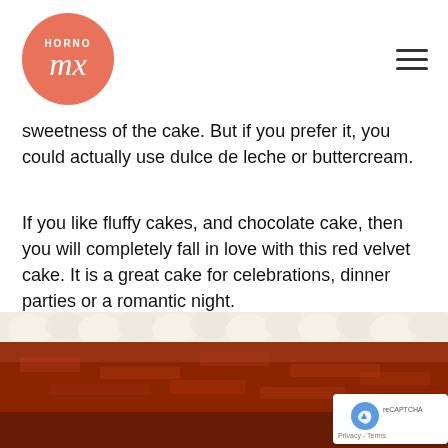HORNO MX [logo] [hamburger menu]
sweetness of the cake. But if you prefer it, you could actually use dulce de leche or buttercream.
If you like fluffy cakes, and chocolate cake, then you will completely fall in love with this red velvet cake. It is a great cake for celebrations, dinner parties or a romantic night.
[Figure (photo): Close-up photo of a red velvet cake slice with white cream/frosting on top, showing the deep red crumb interior.]